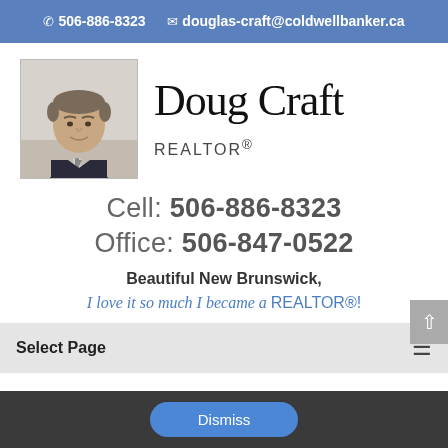✆ 506-886-8323 ✉ douglas-craft@coldwellbanker.ca
[Figure (photo): Professional headshot of Doug Craft, a middle-aged man in a dark suit and tie, light background]
Doug Craft
REALTOR®
Cell: 506-886-8323
Office: 506-847-0522
Beautiful New Brunswick, I love it so much I became a REALTOR®!
Select Page
Dismiss